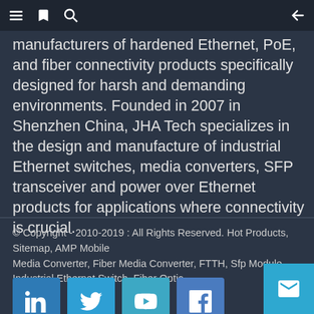[Navigation bar with menu, bookmark, search icons and back arrow]
manufacturers of hardened Ethernet, PoE, and fiber connectivity products specifically designed for harsh and demanding environments. Founded in 2007 in Shenzhen China, JHA Tech specializes in the design and manufacture of industrial Ethernet switches, media converters, SFP transceiver and power over Ethernet products for applications where connectivity is crucial.
© Copyright - 2010-2019 : All Rights Reserved. Hot Products, Sitemap, AMP Mobile Media Converter, Fiber Media Converter, FTTH, Sfp Module, Industrial Ethernet Switch, Fiber Optic,
[Figure (other): Social media icons row: LinkedIn, Twitter, YouTube, Facebook]